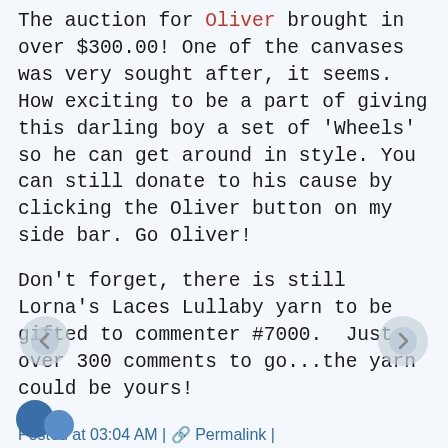The auction for Oliver brought in over $300.00! One of the canvases was very sought after, it seems.  How exciting to be a part of giving this darling boy a set of 'Wheels' so he can get around in style. You can still donate to his cause by clicking the Oliver button on my side bar. Go Oliver!
Don't forget, there is still Lorna's Laces Lullaby yarn to be gifted to commenter #7000.  Just over 300 comments to go...the yarn could be yours!
Posted at 03:04 AM | Permalink | Comments (35)